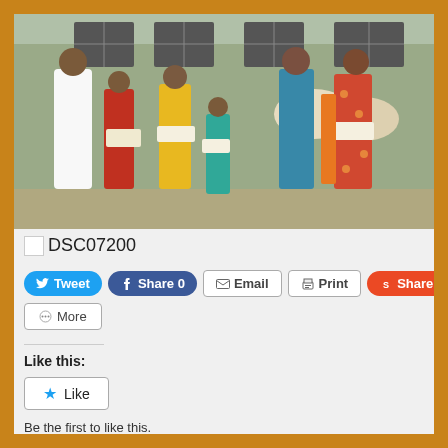[Figure (photo): Group photo of several people standing outdoors, some holding white packages/bags, in front of a building. Man in white clothes on left, women in colorful sarees.]
DSC07200
Tweet  Share 0  Email  Print  Share  More
Like this:
Like
Be the first to like this.